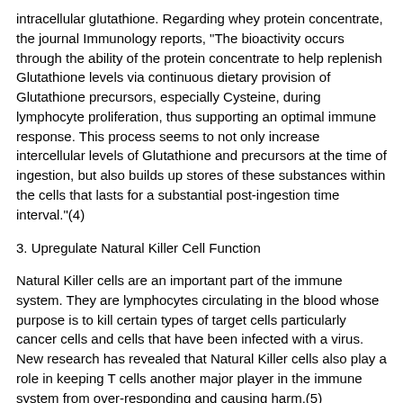intracellular glutathione. Regarding whey protein concentrate, the journal Immunology reports, "The bioactivity occurs through the ability of the protein concentrate to help replenish Glutathione levels via continuous dietary provision of Glutathione precursors, especially Cysteine, during lymphocyte proliferation, thus supporting an optimal immune response. This process seems to not only increase intercellular levels of Glutathione and precursors at the time of ingestion, but also builds up stores of these substances within the cells that lasts for a substantial post-ingestion time interval."(4)
3. Upregulate Natural Killer Cell Function
Natural Killer cells are an important part of the immune system. They are lymphocytes circulating in the blood whose purpose is to kill certain types of target cells particularly cancer cells and cells that have been infected with a virus. New research has revealed that Natural Killer cells also play a role in keeping T cells another major player in the immune system from over-responding and causing harm.(5)